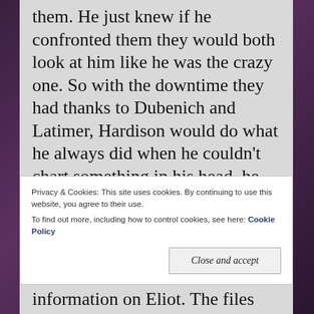them. He just knew if he confronted them they would both look at him like he was the crazy one. So with the downtime they had thanks to Dubenich and Latimer, Hardison would do what he always did when he couldn't chart something in his head, he chart it on paper and see where it went.
Raiding the mini-bar for a fresh orange
Privacy & Cookies: This site uses cookies. By continuing to use this website, you agree to their use. To find out more, including how to control cookies, see here: Cookie Policy
Close and accept
information on Eliot. The files Zilgram got